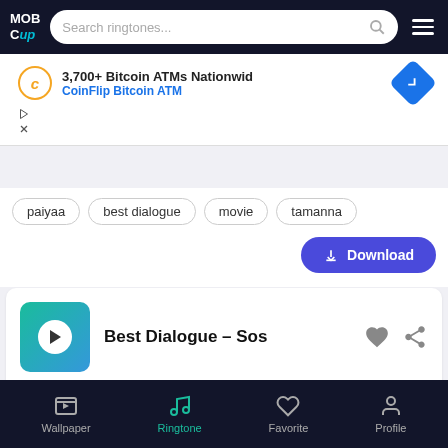MOB Cup - Search ringtones...
[Figure (screenshot): Advertisement banner for CoinFlip Bitcoin ATM showing 3,700+ Bitcoin ATMs Nationwide]
paiyaa
best dialogue
movie
tamanna
Download
Best Dialogue – Sos
11 Sec  361
Wallpaper  Ringtone  Favorite  Profile